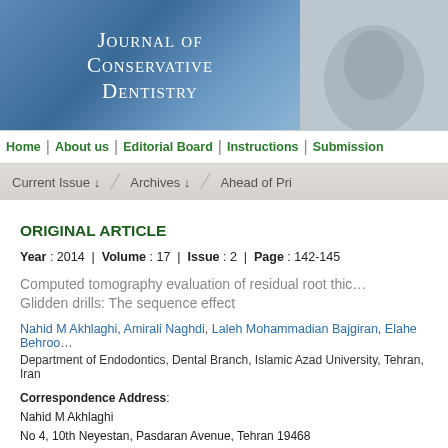[Figure (other): Journal of Conservative Dentistry header banner with blue gradient on left and gray image on right]
Home | About us | Editorial Board | Instructions | Submission
Current Issue ↓ / Archives ↓ / Ahead of Pri...
ORIGINAL ARTICLE
Year : 2014 | Volume : 17 | Issue : 2 | Page : 142-145
Computed tomography evaluation of residual root thickness after post space preparation with Gates Glidden drills: The sequence effect
Nahid M Akhlaghi, Amirali Naghdi, Laleh Mohammadian Bajgiran, Elahe Behroo...
Department of Endodontics, Dental Branch, Islamic Azad University, Tehran, Iran
Correspondence Address:
Nahid M Akhlaghi
No 4, 10th Neyestan, Pasdaran Avenue, Tehran 19468
Iran